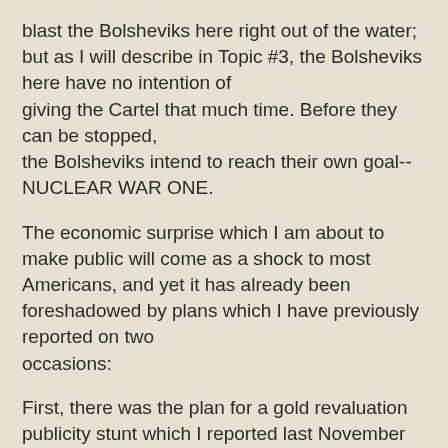blast the Bolsheviks here right out of the water; but as I will describe in Topic #3, the Bolsheviks here have no intention of giving the Cartel that much time. Before they can be stopped, the Bolsheviks intend to reach their own goal--NUCLEAR WAR ONE.
The economic surprise which I am about to make public will come as a shock to most Americans, and yet it has already been foreshadowed by plans which I have previously reported on two occasions:
First, there was the plan for a gold revaluation publicity stunt which I reported last November 1980 in AUDIO LETTER No. 60. America's alleged gold reserves are listed on Treasury and Federal Reserve balance sheets at the old official price of $42.22 per ounce. As you and I know, they do not in fact have a